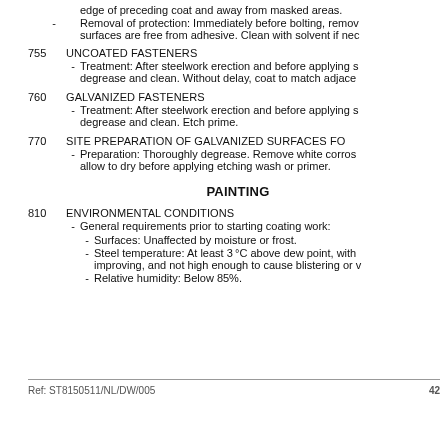edge of preceding coat and away from masked areas.
Removal of protection: Immediately before bolting, remove surfaces are free from adhesive. Clean with solvent if necessary.
755   UNCOATED FASTENERS
Treatment: After steelwork erection and before applying s degrease and clean. Without delay, coat to match adjacent coating.
760   GALVANIZED FASTENERS
Treatment: After steelwork erection and before applying s degrease and clean. Etch prime.
770   SITE PREPARATION OF GALVANIZED SURFACES FO
Preparation: Thoroughly degrease. Remove white corrosion allow to dry before applying etching wash or primer.
PAINTING
810   ENVIRONMENTAL CONDITIONS
General requirements prior to starting coating work:
Surfaces: Unaffected by moisture or frost.
Steel temperature: At least 3°C above dew point, with improving, and not high enough to cause blistering or vapour.
Relative humidity: Below 85%.
Ref: ST8150511/NL/DW/005   42